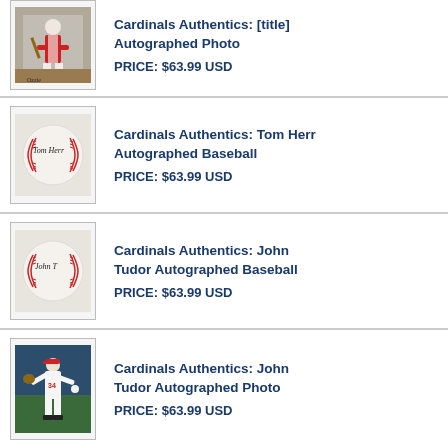[Figure (photo): Autographed baseball player photo in Cardinals uniform, partial view at top]
Cardinals Authentics: [title cut off] Autographed Photo
PRICE: $63.99 USD
[Figure (photo): Autographed baseball signed by Tom Herr]
Cardinals Authentics: Tom Herr Autographed Baseball
PRICE: $63.99 USD
[Figure (photo): Autographed baseball signed by John Tudor]
Cardinals Authentics: John Tudor Autographed Baseball
PRICE: $63.99 USD
[Figure (photo): John Tudor pitching photo in Cardinals uniform]
Cardinals Authentics: John Tudor Autographed Photo
PRICE: $63.99 USD